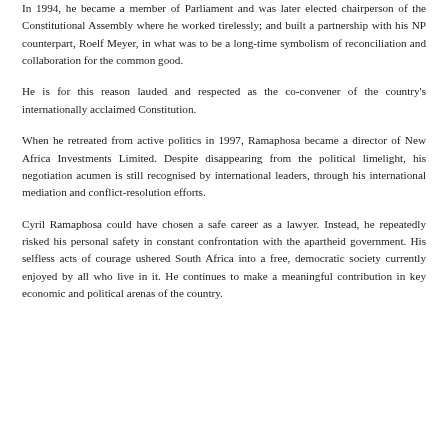In 1994, he became a member of Parliament and was later elected chairperson of the Constitutional Assembly where he worked tirelessly; and built a partnership with his NP counterpart, Roelf Meyer, in what was to be a long-time symbolism of reconciliation and collaboration for the common good.
He is for this reason lauded and respected as the co-convener of the country's internationally acclaimed Constitution.
When he retreated from active politics in 1997, Ramaphosa became a director of New Africa Investments Limited. Despite disappearing from the political limelight, his negotiation acumen is still recognised by international leaders, through his international mediation and conflict-resolution efforts.
Cyril Ramaphosa could have chosen a safe career as a lawyer. Instead, he repeatedly risked his personal safety in constant confrontation with the apartheid government. His selfless acts of courage ushered South Africa into a free, democratic society currently enjoyed by all who live in it. He continues to make a meaningful contribution in key economic and political arenas of the country.